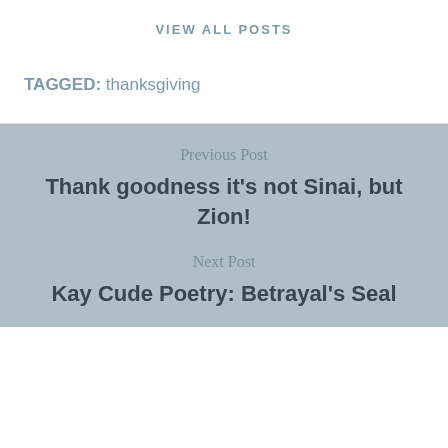VIEW ALL POSTS
TAGGED: thanksgiving
Previous Post
Thank goodness it’s not Sinai, but Zion!
Next Post
Kay Cude Poetry: Betrayal’s Seal